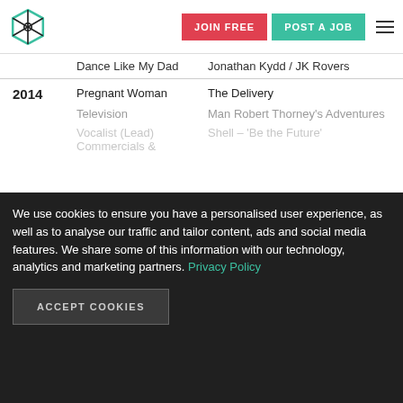JOIN FREE | POST A JOB
| Year | Role | Production |
| --- | --- | --- |
|  | Dance Like My Dad | Jonathan Kydd / JK Rovers |
| 2014 | Pregnant Woman | The Delivery Man |
|  | Television | Robert Thorney's Adventures |
|  | Vocalist (Lead) Commercials & | Shell – 'Be the Future' |
We use cookies to ensure you have a personalised user experience, as well as to analyse our traffic and tailor content, ads and social media features. We share some of this information with our technology, analytics and marketing partners. Privacy Policy
ACCEPT COOKIES